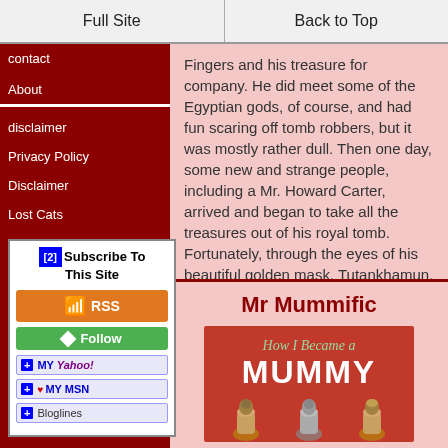Full Site | Back to Top
contact
About
disclaimer
Privacy Policy
Disclaimer
Lost Cats
[Figure (infographic): Subscribe To This Site widget with RSS button (orange), Follow button (green), MY YAHOO!, MY MSN, and Bloglines subscription buttons]
Fingers and his treasure for company. He did meet some of the Egyptian gods, of course, and had fun scaring off tomb robbers, but it was mostly rather dull. Then one day, some new and strange people, including a Mr. Howard Carter, arrived and began to take all the treasures out of his royal tomb. Fortunately, through the eyes of his beautiful golden mask, Tutankhamun, could have fun again traveling around the world
Mr Mummific
[Figure (illustration): Book cover showing 'How I Became a MUMMY' in red background with canopic jar figures at bottom and teal/green subtitle text]